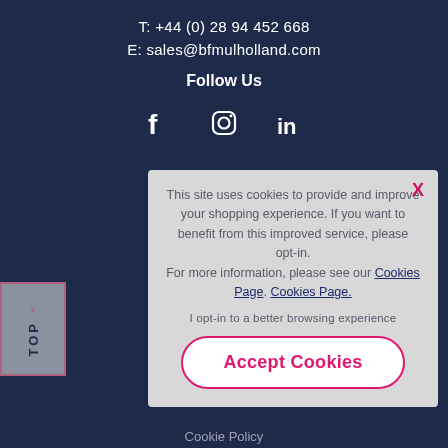T: +44 (0) 28 94 452 668
E: sales@bfmulholland.com
Follow Us
[Figure (illustration): Social media icons: Facebook (f), Instagram (camera icon), LinkedIn (in)]
This site uses cookies to provide and improve your shopping experience. If you want to benefit from this improved service, please opt-in. For more information, please see our Cookies Page. Cookies Page.
I opt-in to a better browsing experience
Accept Cookies
Cookie Policy